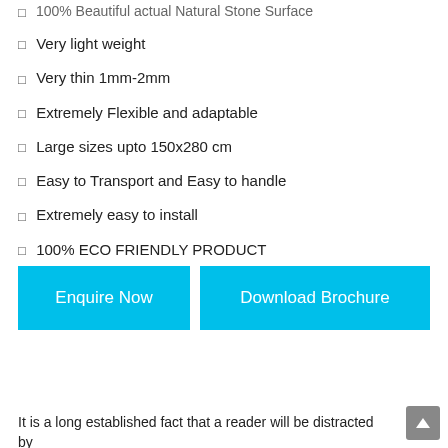100% Beautiful actual Natural Stone Surface
Very light weight
Very thin 1mm-2mm
Extremely Flexible and adaptable
Large sizes upto 150x280 cm
Easy to Transport and Easy to handle
Extremely easy to install
100% ECO FRIENDLY PRODUCT
Enquire Now
Download Brochure
It is a long established fact that a reader will be distracted by